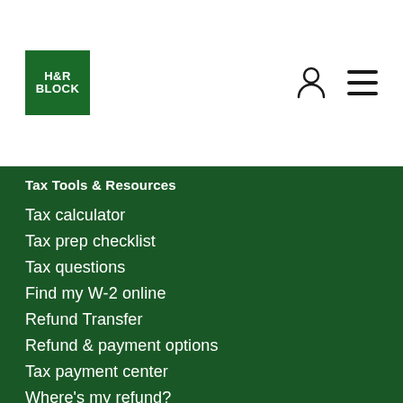[Figure (logo): H&R Block green square logo with white text]
Tax Tools & Resources
Tax calculator
Tax prep checklist
Tax questions
Find my W-2 online
Refund Transfer
Refund & payment options
Tax payment center
Where's my refund?
W-4 calculator